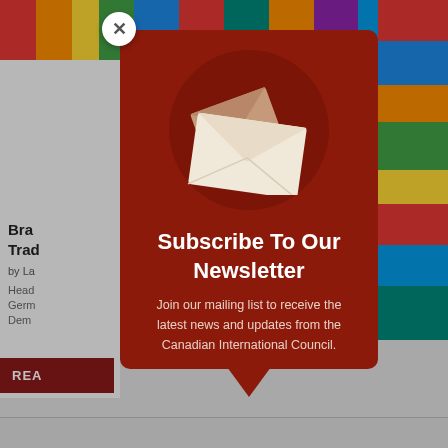[Figure (screenshot): Background webpage showing colorful shipping containers at top and partial article text on left side]
[Figure (illustration): Newsletter subscription modal popup with dark red background, envelope icons in circular graphic, title 'Subscribe To Our Newsletter', and body text about joining mailing list for Canadian International Council updates]
Subscribe To Our Newsletter
Join our mailing list to receive the latest news and updates from the Canadian International Council.